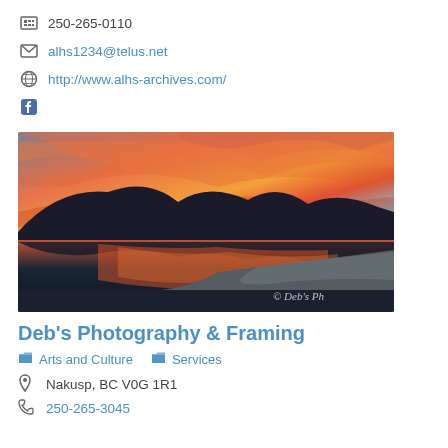250-265-0110
alhs1234@telus.net
http://www.alhs-archives.com/
[Figure (photo): Dramatic sunset photo with vibrant orange and pink clouds reflected in a calm lake, with mountain silhouette in the background and a sandy shoreline curving to the right. Watermark reads '© Deb's Ph']
Deb's Photography & Framing
Arts and Culture   Services
Nakusp, BC V0G 1R1
250-265-3045